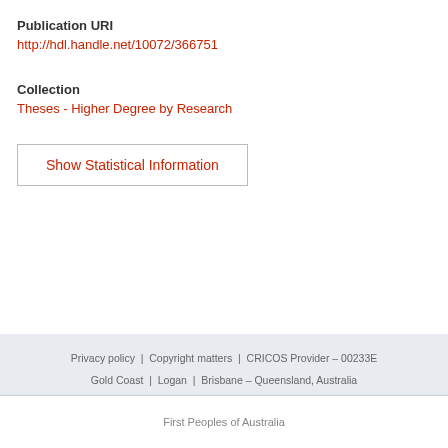Publication URI
http://hdl.handle.net/10072/366751
Collection
Theses - Higher Degree by Research
Show Statistical Information
Privacy policy | Copyright matters | CRICOS Provider – 00233E Gold Coast | Logan | Brisbane – Queensland, Australia
First Peoples of Australia